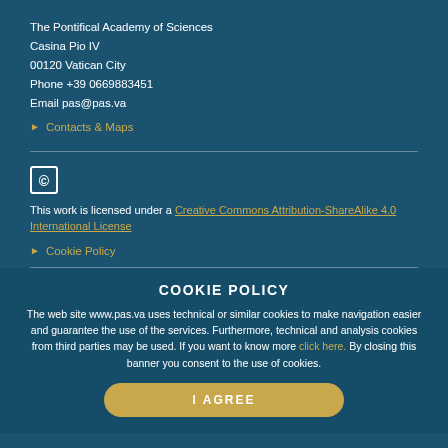The Pontifical Academy of Sciences
Casina Pio IV
00120 Vatican City
Phone +39 0669883451
Email pas@pas.va
Contacts & Maps
[Figure (other): Creative Commons icon (CC logo in a box)]
This work is licensed under a Creative Commons Attribution-ShareAlike 4.0 International License
Cookie Policy
COOKIE POLICY
The web site www.pas.va uses technical or similar cookies to make navigation easier and guarantee the use of the services. Furthermore, technical and analysis cookies from third parties may be used. If you want to know more click here. By closing this banner you consent to the use of cookies.
I AGREE